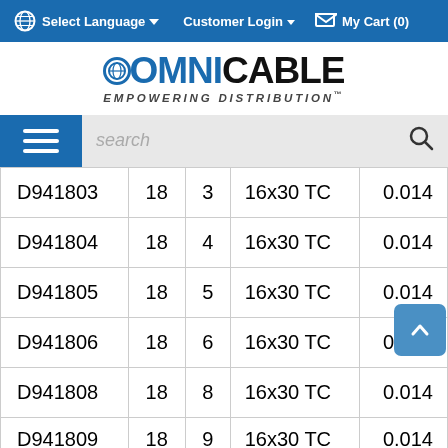Select Language   Customer Login   My Cart (0)
[Figure (logo): OmniCable logo with text EMPOWERING DISTRIBUTION]
[Figure (screenshot): Search bar with hamburger menu button and search icon]
| Part Number | AWG | Conductors | Stranding | OD |
| --- | --- | --- | --- | --- |
| D941803 | 18 | 3 | 16x30 TC | 0.014 |
| D941804 | 18 | 4 | 16x30 TC | 0.014 |
| D941805 | 18 | 5 | 16x30 TC | 0.014 |
| D941806 | 18 | 6 | 16x30 TC | 0.014 |
| D941808 | 18 | 8 | 16x30 TC | 0.014 |
| D941809 | 18 | 9 | 16x30 TC | 0.014 |